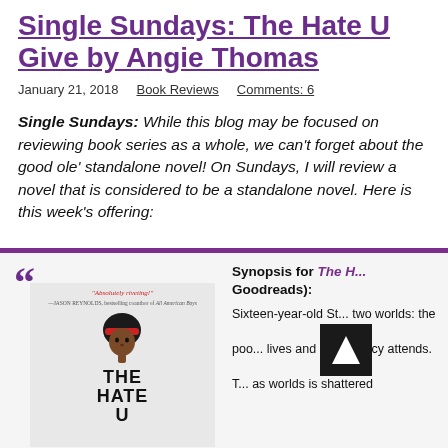Single Sundays: The Hate U Give by Angie Thomas
January 21, 2018    Book Reviews    Comments: 6
Single Sundays: While this blog may be focused on reviewing book series as a whole, we can’t forget about the good ole’ standalone novel! On Sundays, I will review a novel that is considered to be a standalone novel. Here is this week’s offering:
[Figure (illustration): Book cover of The Hate U Give by Angie Thomas with a cartoon illustration of a Black girl with natural hair and a red headband, and large bold title text THE HATE U on a light background. Quote: 'Absolutely riveting!' —JASON REYNOLDS, bestselling coauthor of All American Boys]
Synopsis for The H... (Goodreads):

Sixteen-year-old St... two worlds: the poo... lives and ...cy attends. T... as worlds is shattered